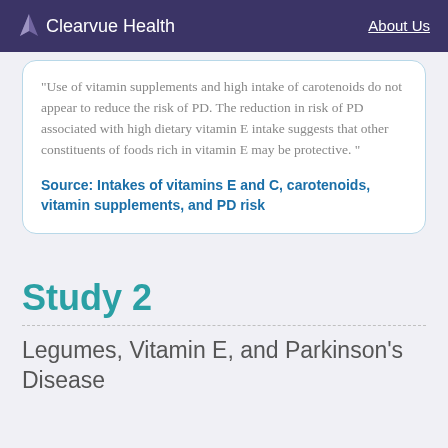Clearvue Health  About Us
"Use of vitamin supplements and high intake of carotenoids do not appear to reduce the risk of PD. The reduction in risk of PD associated with high dietary vitamin E intake suggests that other constituents of foods rich in vitamin E may be protective. "
Source: Intakes of vitamins E and C, carotenoids, vitamin supplements, and PD risk
Study 2
Legumes, Vitamin E, and Parkinson's Disease